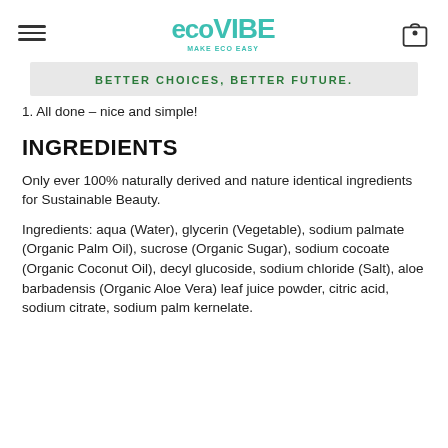EcoVibe – Make Eco Easy
BETTER CHOICES, BETTER FUTURE.
1. All done – nice and simple!
INGREDIENTS
Only ever 100% naturally derived and nature identical ingredients for Sustainable Beauty.
Ingredients: aqua (Water), glycerin (Vegetable), sodium palmate (Organic Palm Oil), sucrose (Organic Sugar), sodium cocoate (Organic Coconut Oil), decyl glucoside, sodium chloride (Salt), aloe barbadensis (Organic Aloe Vera) leaf juice powder, citric acid, sodium citrate, sodium palm kernelate.